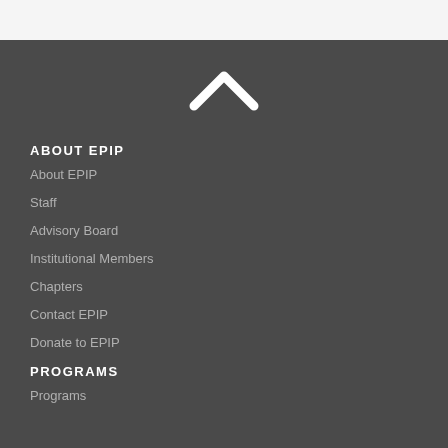[Figure (illustration): Upward chevron / caret arrow icon in white, centered near top of dark grey background area]
ABOUT EPIP
About EPIP
Staff
Advisory Board
Institutional Members
Chapters
Contact EPIP
Donate to EPIP
PROGRAMS
Programs